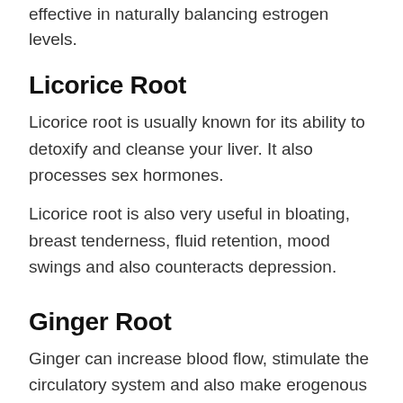effective in naturally balancing estrogen levels.
Licorice Root
Licorice root is usually known for its ability to detoxify and cleanse your liver. It also processes sex hormones.
Licorice root is also very useful in bloating, breast tenderness, fluid retention, mood swings and also counteracts depression.
Ginger Root
Ginger can increase blood flow, stimulate the circulatory system and also make erogenous zones hypersensitive. So, for centuries, it is known for its aphrodisiac effect.